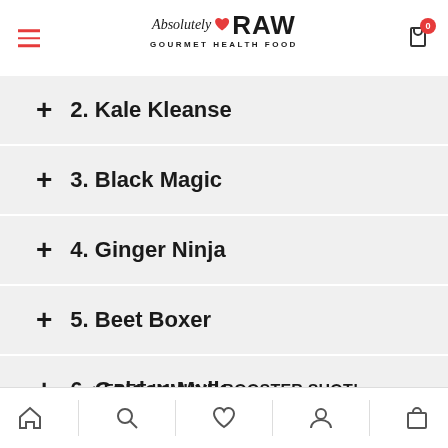Absolutely RAW GOURMET HEALTH FOOD
2. Kale Kleanse
3. Black Magic
4. Ginger Ninja
5. Beet Boxer
6. Golden Mylk
+ FREE IMMUNE BOOSTER SHOT!
Ginger, lemon, turmeric, cayenne pepper
Home | Search | Wishlist | Account | Cart